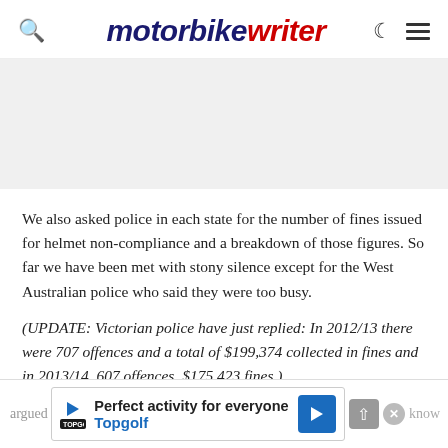motorbike writer
We also asked police in each state for the number of fines issued for helmet non-compliance and a breakdown of those figures. So far we have been met with stony silence except for the West Australian police who said they were too busy.
(UPDATE: Victorian police have just replied: In 2012/13 there were 707 offences and a total of $199,374 collected in fines and in 2013/14, 607 offences, $175,423 fines.)
In the v ... av ... argued ... know